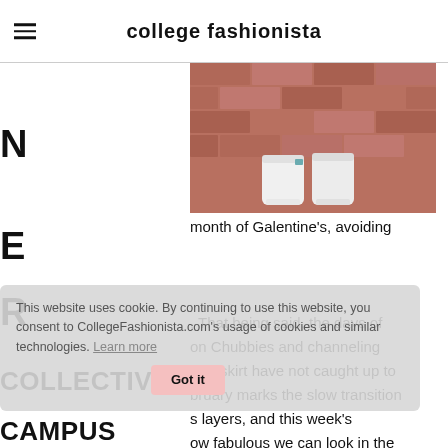college fashionista
[Figure (photo): Looking down at white sneakers on red/brown brick pavement]
month of Galentine's, avoiding
. That being said, the days of on Chubbies and channeling ater skirt have not caught up to bruary marks the slow transition s layers, and this week's ow fabulous we can look in the
This website uses cookies. By continuing to use this website, you consent to CollegeFashionista.com's usage of cookies and similar technologies. Learn more
Got it
COLLECTIVE
CAMPUS